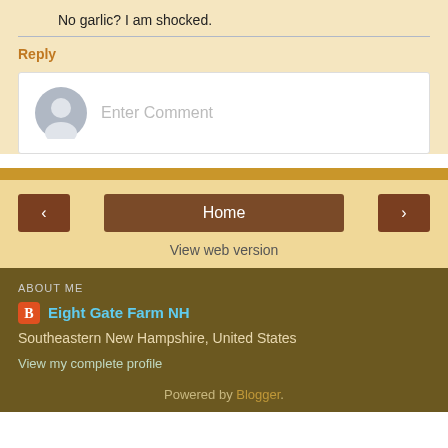No garlic? I am shocked.
Reply
[Figure (other): Enter Comment input box with user avatar placeholder icon]
Home
View web version
ABOUT ME
Eight Gate Farm NH
Southeastern New Hampshire, United States
View my complete profile
Powered by Blogger.